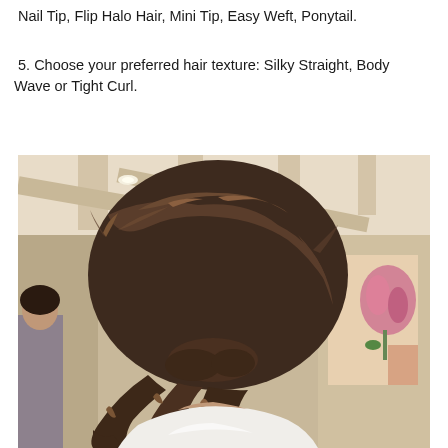Nail Tip, Flip Halo Hair, Mini Tip, Easy Weft, Ponytail.
5. Choose your preferred hair texture: Silky Straight, Body Wave or Tight Curl.
[Figure (photo): Back view of a woman with long brunette hair styled in a low ponytail with highlights and soft waves, photographed in an indoor setting with artwork visible in the background.]